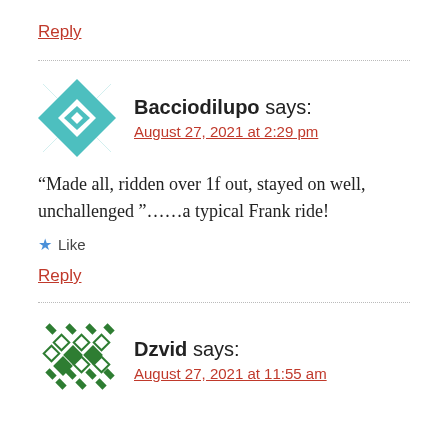Reply
Bacciodilupo says:
August 27, 2021 at 2:29 pm
“Made all, ridden over 1f out, stayed on well, unchallenged ”……a typical Frank ride!
★ Like
Reply
Dzvid says:
August 27, 2021 at 11:55 am